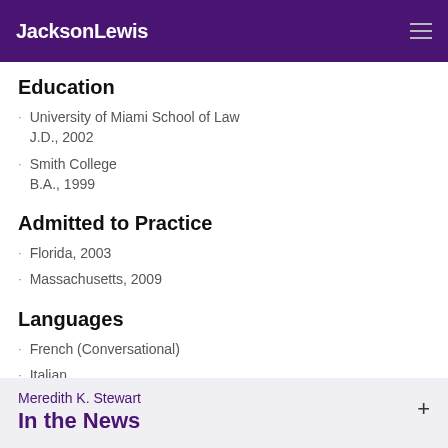JacksonLewis
Education
University of Miami School of Law
J.D., 2002
Smith College
B.A., 1999
Admitted to Practice
Florida, 2003
Massachusetts, 2009
Languages
French (Conversational)
Italian
Meredith K. Stewart
In the News